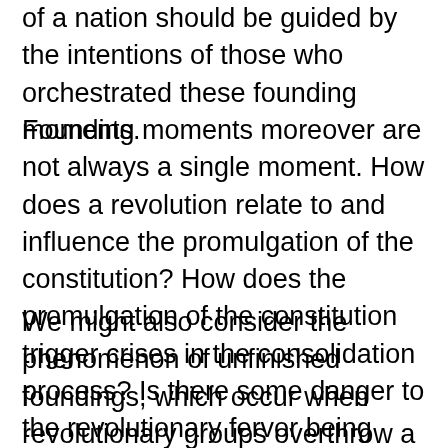of a nation should be guided by the intentions of those who orchestrated these founding moments.
Founding moments moreover are not always a single moment. How does a revolution relate to and influence the promulgation of the constitution? How does the promulgation of the constitution trigger crises in the consolidation process? Is there some danger to the revolutionary fervor being entrenched in words, symbolism and structures in a country's written constitution?
We might also consider the phenomenon of unfinished foundings, which occur when revolutionary groups overthrow a dictator but not the entire “old guard.” To what extent is an event a founding moment if it is a partial or an unfinished revolution? How do such unfinished foundations influence the identity of the country?